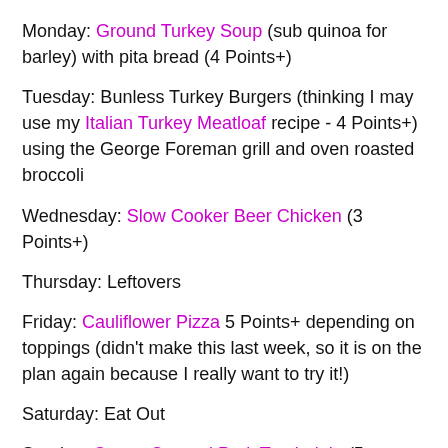Monday: Ground Turkey Soup (sub quinoa for barley) with pita bread (4 Points+)
Tuesday: Bunless Turkey Burgers (thinking I may use my Italian Turkey Meatloaf recipe - 4 Points+) using the George Foreman grill and oven roasted broccoli
Wednesday: Slow Cooker Beer Chicken (3 Points+)
Thursday: Leftovers
Friday: Cauliflower Pizza 5 Points+ depending on toppings (didn't make this last week, so it is on the plan again because I really want to try it!)
Saturday: Eat Out
Sunday: Cocoa Crusted Pork Tenderloin (5 Points+)
Breakfasts: Individual Baked Oatmeal Cups (4 Points+)
Lunches: Light Harvest Tomato Soup (? Points+)